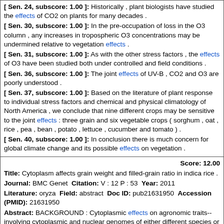[ Sen. 24, subscore: 1.00 ]: Historically , plant biologists have studied the effects of CO2 on plants for many decades .
[ Sen. 30, subscore: 1.00 ]: In the pre-occupation of loss in the O3 column , any increases in tropospheric O3 concentrations may be undermined relative to vegetation effects .
[ Sen. 31, subscore: 1.00 ]: As with the other stress factors , the effects of O3 have been studied both under controlled and field conditions .
[ Sen. 36, subscore: 1.00 ]: The joint effects of UV-B , CO2 and O3 are poorly understood .
[ Sen. 37, subscore: 1.00 ]: Based on the literature of plant response to individual stress factors and chemical and physical climatology of North America , we conclude that nine different crops may be sensitive to the joint effects : three grain and six vegetable crops ( sorghum , oat , rice , pea , bean , potato , lettuce , cucumber and tomato ) .
[ Sen. 40, subscore: 1.00 ]: In conclusion there is much concern for global climate change and its possible effects on vegetation .
Score: 12.00
Title: Cytoplasm affects grain weight and filled-grain ratio in indica rice .
Journal: BMC Genet Citation: V : 12 P : 53 Year: 2011
Literature: oryza Field: abstract Doc ID: pub21631950 Accession (PMID): 21631950
Abstract: BACKGROUND : Cytoplasmic effects on agronomic traits--involving cytoplasmic and nuclear genomes of either different species or different cultivars--are well documented in wheat but have seldom been demonstrated in rice ( Oryza sativa L ) . To detect cytoplasmic effects , we introgressed the nuclear genomes of three indica cultivars--Guichao 2 , Jiangchengkugu , and Dianrui 449--into the cytoplasms of six indica cultivars - Dijiaowujian , Shenglixian , Zhuzhan , Nantehao , Aizizhan